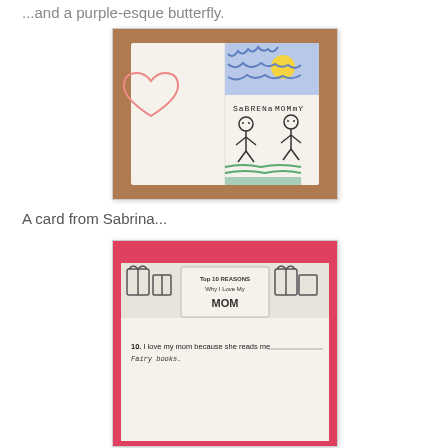...and a purple-esque butterfly.
[Figure (photo): Child's hand-drawn card showing a heart on the left half and on the right half: a sun with blue sky scribbles, two stick figures labeled 'Sabrina' and 'Mommy', and green crayon grass at the bottom.]
A card from Sabrina...
[Figure (photo): Photo of an open booklet titled 'Top 10 Reasons Why I Love My MOM' with decorative cartoon figures. Line 10 reads: 'I love my mom because she reads me Fairy books.']